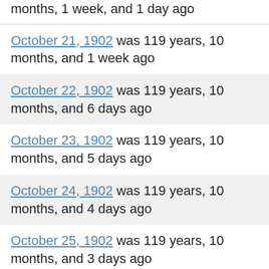months, 1 week, and 1 day ago
October 21, 1902 was 119 years, 10 months, and 1 week ago
October 22, 1902 was 119 years, 10 months, and 6 days ago
October 23, 1902 was 119 years, 10 months, and 5 days ago
October 24, 1902 was 119 years, 10 months, and 4 days ago
October 25, 1902 was 119 years, 10 months, and 3 days ago
October 26, 1902 was 119 years, 10 months, and 2 days ago
October 27, 1902 was 119 years, 10